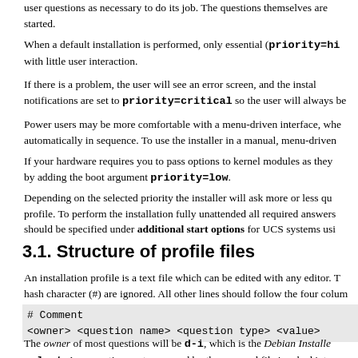user questions as necessary to do its job. The questions themselves are started.
When a default installation is performed, only essential (priority=hi with little user interaction.
If there is a problem, the user will see an error screen, and the instal notifications are set to priority=critical so the user will always be
Power users may be more comfortable with a menu-driven interface, whe automatically in sequence. To use the installer in a manual, menu-driven
If your hardware requires you to pass options to kernel modules as they by adding the boot argument priority=low.
Depending on the selected priority the installer will ask more or less qu profile. To perform the installation fully unattended all required answers should be specified under additional start options for UCS systems usi
3.1. Structure of profile files
An installation profile is a text file which can be edited with any editor. T hash character (#) are ignored. All other lines should follow the four colum
[Figure (other): Code block showing: # Comment and <owner> <question name> <question type> <value>]
The owner of most questions will be d-i, which is the Debian Installe select. Any questions not answered by the pre-seed file is asked intera